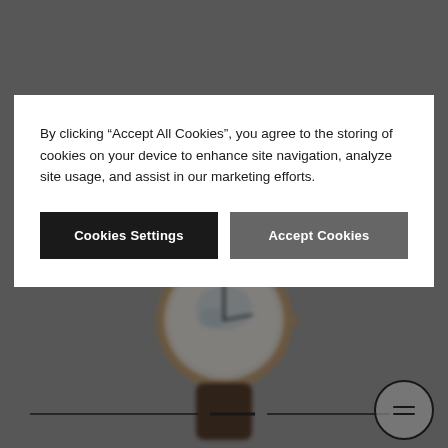Due to administrative changes and procedures brought on by Brexit, we would like to inform you that current delivery delays...
[Figure (screenshot): Cookie consent modal overlay on a watch product page. The modal shows a cookie consent message and two buttons: 'Cookies Settings' (black) and 'Accept Cookies' (gray). Behind the modal is a blurred image of a luxury watch with a brown leather strap on a gray background.]
By clicking "Accept All Cookies", you agree to the storing of cookies on your device to enhance site navigation, analyze site usage, and assist in our marketing efforts.
Cookies Settings
Accept Cookies
Original  •  ..